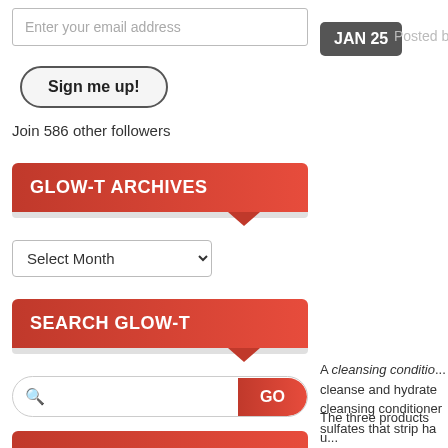Enter your email address
Sign me up!
Join 586 other followers
GLOW-T ARCHIVES
Select Month
SEARCH GLOW-T
GO
TOP POSTS
Easy Exfoliating: Origins Ginger Body Scrub
Dream Cream: Jouer Cream Eyeshadow
JAN 25
Posted b
A cleansing conditio... cleanse and hydrate cleansing conditioner sulfates that strip ha
The three products u... Cleansing Oil Sham...